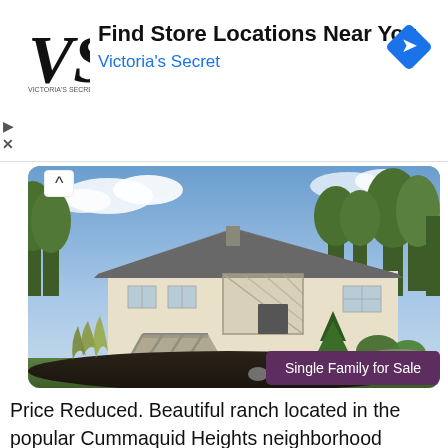[Figure (advertisement): Victoria's Secret advertisement banner with VS logo, 'Find Store Locations Near You' headline, blue navigation icon]
[Figure (photo): Exterior photo of a ranch-style single family home with beige siding, gray roof, wooden deck/ramp, decorative landscaping with rocks and ornamental grasses, trees in background. Badge reads 'Single Family for Sale'.]
Price Reduced. Beautiful ranch located in the popular Cummaquid Heights neighborhood surrounding the private Cummaquid Golf Course. The single story home offers...